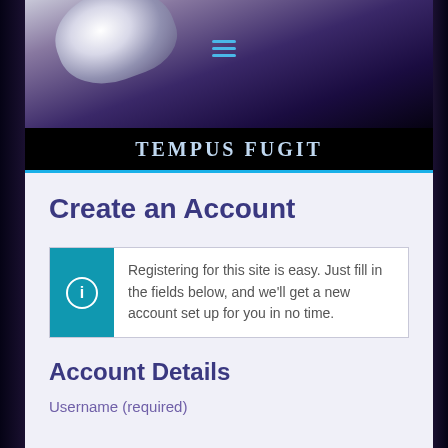[Figure (screenshot): Website screenshot of Tempus Fugit registration page with space/galaxy hero image showing a planet or moon shape, hamburger menu icon, black header bar with site title, and form below]
TEMPUS FUGIT
Create an Account
Registering for this site is easy. Just fill in the fields below, and we'll get a new account set up for you in no time.
Account Details
Username (required)